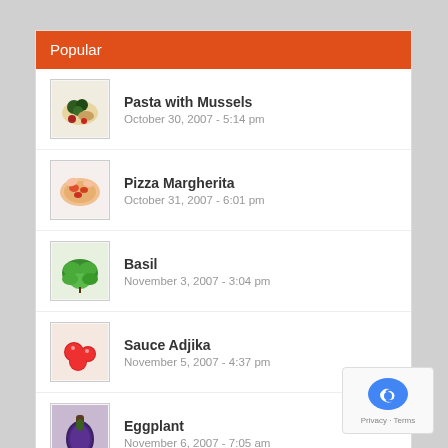Popular
Pasta with Mussels
October 30, 2007 - 5:14 pm
Pizza Margherita
October 31, 2007 - 6:01 pm
Basil
November 3, 2007 - 3:04 pm
Sauce Adjika
November 5, 2007 - 4:37 pm
Eggplant
November 6, 2007 - 7:05 am
Recent
Comments
Tags